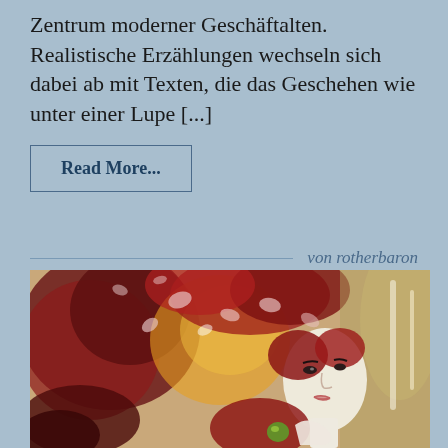Zentrum moderner Geschäftalten. Realistische Erzählungen wechseln sich dabei ab mit Texten, die das Geschehen wie unter einer Lupe [...]
Read More...
von rotherbaron
[Figure (illustration): Watercolor illustration of a pale-faced woman with dramatic red floral hair, looking pensive, with deep red and maroon tones throughout.]